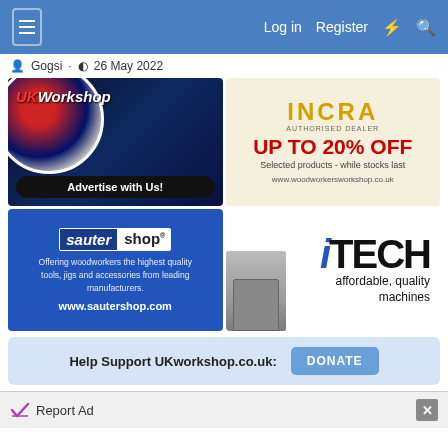Log in  Register
Gogsi · 26 May 2022
[Figure (photo): UKWorkshop — Advertise with Us! banner ad with UK flag circle logo]
[Figure (photo): INCRA Authorised Dealer — UP TO 20% OFF Selected products - while stocks last — www.woodworkersworkshop.co.uk]
[Figure (photo): Sauter shop — Offering woodworkers the highest quality tools, jigs and accessories from leading manufacturers. www.sautershop.com]
[Figure (photo): iTECH affordable, quality machines]
Help Support UKworkshop.co.uk:  DONATE
Report Ad